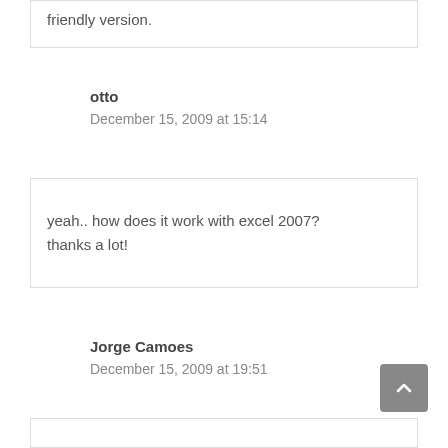friendly version.
otto
December 15, 2009 at 15:14
yeah.. how does it work with excel 2007? thanks a lot!
Jorge Camoes
December 15, 2009 at 19:51